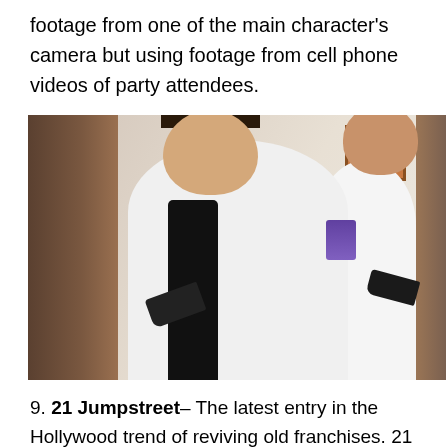footage from one of the main character's camera but using footage from cell phone videos of party attendees.
[Figure (photo): Two men in formal attire (white tuxedo jackets and black bow ties) holding guns, appearing to be from the movie 21 Jump Street. The main figure is a young heavyset man facing the camera with a surprised/intense expression, holding a black handgun. Another man is visible to the right holding a gun. Background shows curtains and a wall with artwork.]
9. 21 Jumpstreet– The latest entry in the Hollywood trend of reviving old franchises. 21 Jumpstreet was originally a television drama series that launched Johnny Depp's career. The movie was really done well, especially for a comedy. Channing Tatum and